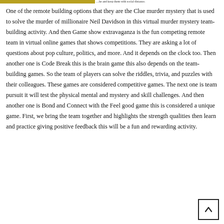…he and keep them with social distance.
One of the remote building options that they are the Clue murder mystery that is used to solve the murder of millionaire Neil Davidson in this virtual murder mystery team-building activity. And then Game show extravaganza is the fun competing remote team in virtual online games that shows competitions. They are asking a lot of questions about pop culture, politics, and more. And it depends on the clock too. Then another one is Code Break this is the brain game this also depends on the team-building games. So the team of players can solve the riddles, trivia, and puzzles with their colleagues. These games are considered competitive games. The next one is team pursuit it will test the physical mental and mystery and skill challenges. And then another one is Bond and Connect with the Feel good game this is considered a unique game. First, we bring the team together and highlights the strength qualities then learn and practice giving positive feedback this will be a fun and rewarding activity.